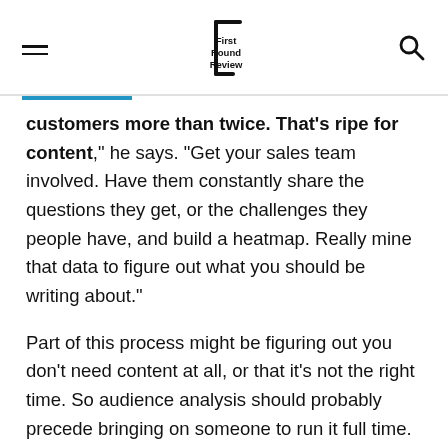First Round Review
customers more than twice. That’s ripe for content,” he says. “Get your sales team involved. Have them constantly share the questions they get, or the challenges they people have, and build a heatmap. Really mine that data to figure out what you should be writing about.”
Part of this process might be figuring out you don’t need content at all, or that it’s not the right time. So audience analysis should probably precede bringing on someone to run it full time. If you don’t value digital marketing that much — or most of your